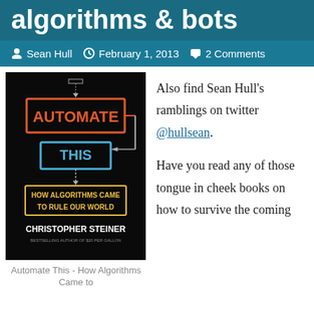algorithms & bots
Sean Hull · February 1, 2013 · 2 Comments
[Figure (photo): Book cover of 'Automate This: How Algorithms Came to Rule Our World' by Christopher Steiner]
Automate This - How Algorithms Came to
Also find Sean Hull's ramblings on twitter @hullsean. Have you read any of those tongue in cheek books on how to survive the coming